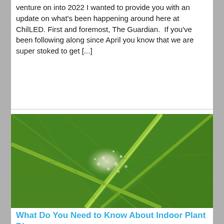venture on into 2022 I wanted to provide you with an update on what's been happening around here at ChilLED. First and foremost, The Guardian.  If you've been following along since April you know that we are super stoked to get [...]
READ MORE
[Figure (photo): Close-up macro photograph of a green leaf with visible veins and a white powdery mildew or fungal infection patch in the center]
What Do You Need to Know About Indoor Plant Diseases